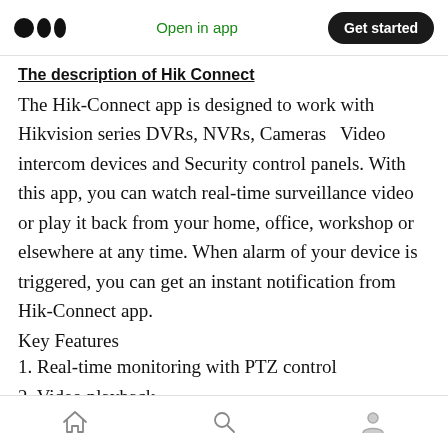Medium app header — Open in app | Get started
The description of Hik Connect
The Hik-Connect app is designed to work with Hikvision series DVRs, NVRs, Cameras   Video intercom devices and Security control panels. With this app, you can watch real-time surveillance video or play it back from your home, office, workshop or elsewhere at any time. When alarm of your device is triggered, you can get an instant notification from Hik-Connect app.
Key Features
1. Real-time monitoring with PTZ control
2. Video playback
3. Two-way audio intercom
Bottom navigation bar — Home | Search | Profile